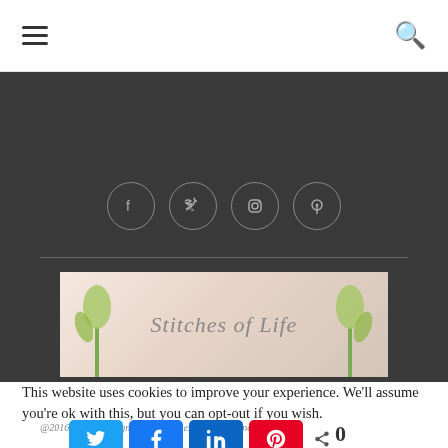Navigation header with hamburger menu and search icon
[Figure (illustration): Dark footer area with four circular social media icons (Facebook, Twitter, Instagram, Pinterest) in grey outlined circles on a dark background]
[Figure (logo): Stitches of Life blog logo banner with tulips on a light pink/beige background with italic script text]
@2016 - PenciDesign. All Rights Reserved. Designed and
This website uses cookies to improve your experience. We'll assume you're ok with this, but you can opt-out if you wish.
[Figure (infographic): Social share bar with Twitter (blue), Facebook (blue), LinkedIn (dark blue), Pinterest (red) buttons and a share count showing 0 SHARES]